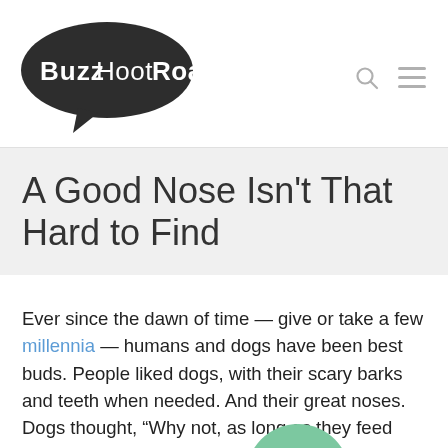[Figure (logo): Buzz Hoot Roar logo — black speech bubble with white bold text reading Buzz Hoot Roar]
A Good Nose Isn't That Hard to Find
Ever since the dawn of time — give or take a few millennia — humans and dogs have been best buds. People liked dogs, with their scary barks and teeth when needed. And their great noses. Dogs thought, “Why not, as long as they feed and pet us?”